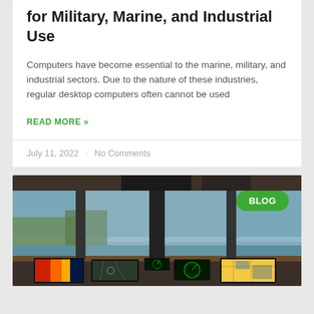for Military, Marine, and Industrial Use
Computers have become essential to the marine, military, and industrial sectors. Due to the nature of these industries, regular desktop computers often cannot be used
READ MORE »
July 11, 2022 · No Comments
[Figure (photo): Interior cockpit/helm of a marine vessel showing multiple navigation displays and screens, viewed from behind through large windows overlooking water. A green 'BLOG' badge is overlaid in the top right corner.]